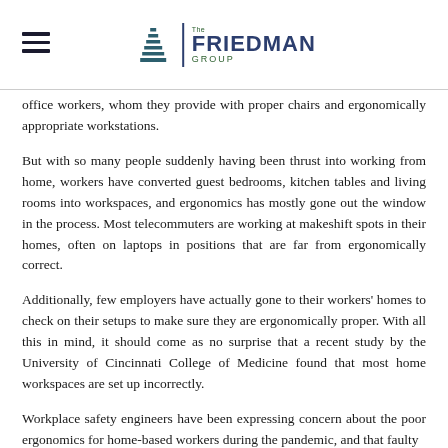The Friedman Group logo with hamburger menu
office workers, whom they provide with proper chairs and ergonomically appropriate workstations.
But with so many people suddenly having been thrust into working from home, workers have converted guest bedrooms, kitchen tables and living rooms into workspaces, and ergonomics has mostly gone out the window in the process. Most telecommuters are working at makeshift spots in their homes, often on laptops in positions that are far from ergonomically correct.
Additionally, few employers have actually gone to their workers' homes to check on their setups to make sure they are ergonomically proper. With all this in mind, it should come as no surprise that a recent study by the University of Cincinnati College of Medicine found that most home workspaces are set up incorrectly.
Workplace safety engineers have been expressing concern about the poor ergonomics for home-based workers during the pandemic, and that faulty